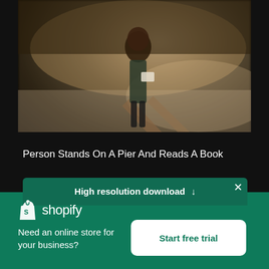[Figure (photo): Blurry outdoor photo of a person standing on a pier reading a book, with water and trees in the background, warm tones]
Person Stands On A Pier And Reads A Book
High resolution download ↓
[Figure (logo): Shopify logo — white shopping bag icon with 'shopify' wordmark in white on green background]
Need an online store for your business?
Start free trial